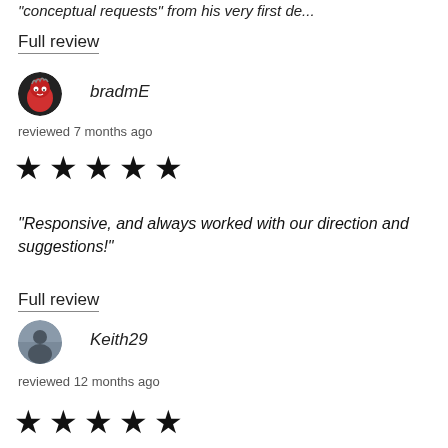"conceptual requests" from his very first de...
Full review
[Figure (illustration): Round avatar of user bradmE - red cartoon character with eyes]
bradmE
reviewed 7 months ago
[Figure (other): Five filled black stars rating]
"Responsive, and always worked with our direction and suggestions!"
Full review
[Figure (illustration): Round avatar of user Keith29 - person silhouette photo]
Keith29
reviewed 12 months ago
[Figure (other): Five filled black stars rating]